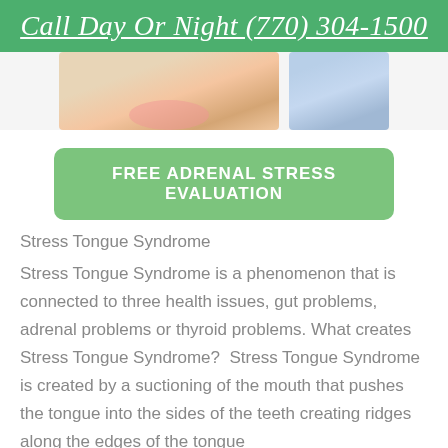Call Day Or Night (770) 304-1500
[Figure (photo): Two photos side by side: left shows a person blowing a bubble with gum, right shows a person in a light blue shirt with a tie]
FREE ADRENAL STRESS EVALUATION
Stress Tongue Syndrome
Stress Tongue Syndrome is a phenomenon that is connected to three health issues, gut problems, adrenal problems or thyroid problems. What creates Stress Tongue Syndrome?  Stress Tongue Syndrome is created by a suctioning of the mouth that pushes the tongue into the sides of the teeth creating ridges along the edges of the tongue